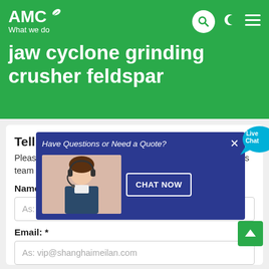AMC — What we do
jaw cyclone grinding crusher feldspar
Tell us what you are looking for?
Please complete and submit the following form and our sales team will contact you shortly with our best prices.
Name: *
As: Tom
Email: *
As: vip@shanghaimeilan.com
Phone: *
With Country Code
[Figure (screenshot): Popup overlay with blue background showing 'Have Questions or Need a Quote?' with a customer service representative image and a CHAT NOW button. A Live Chat speech bubble appears in the top right corner with an X close button.]